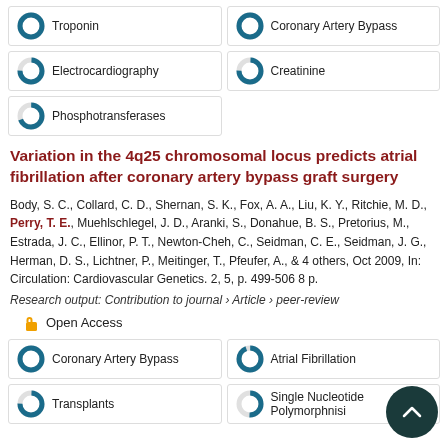Troponin
Coronary Artery Bypass
Electrocardiography
Creatinine
Phosphotransferases
Variation in the 4q25 chromosomal locus predicts atrial fibrillation after coronary artery bypass graft surgery
Body, S. C., Collard, C. D., Shernan, S. K., Fox, A. A., Liu, K. Y., Ritchie, M. D., Perry, T. E., Muehlschlegel, J. D., Aranki, S., Donahue, B. S., Pretorius, M., Estrada, J. C., Ellinor, P. T., Newton-Cheh, C., Seidman, C. E., Seidman, J. G., Herman, D. S., Lichtner, P., Meitinger, T., Pfeufer, A., & 4 others, Oct 2009, In: Circulation: Cardiovascular Genetics. 2, 5, p. 499-506 8 p.
Research output: Contribution to journal › Article › peer-review
Open Access
Coronary Artery Bypass
Atrial Fibrillation
Transplants
Single Nucleotide Polymorphisms